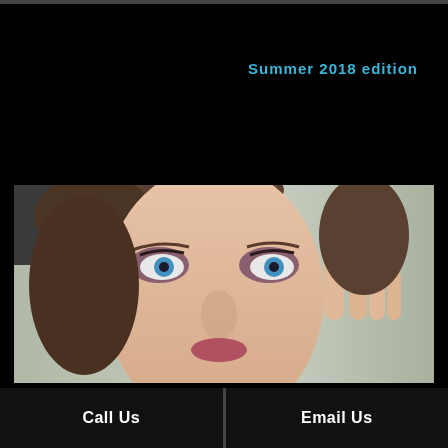Summer 2018 edition
[Figure (photo): Close-up portrait of a woman with blue eyes and smoky eye makeup, hand raised near her face, wearing a ring, light background]
Call Us
Email Us